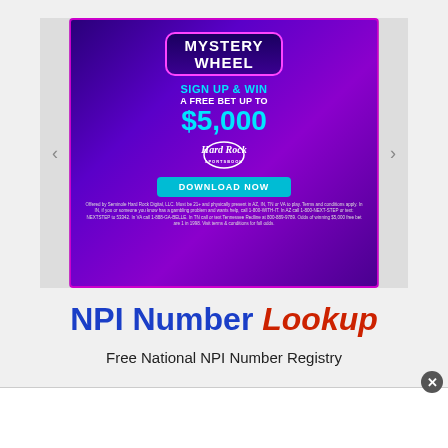[Figure (advertisement): Hard Rock Sportsbook Mystery Wheel advertisement. Sign up and win a free bet up to $5,000. Shows a baseball player swinging with neon purple/pink swirl background. Includes a Download Now button and disclaimer text.]
NPI Number Lookup
Free National NPI Number Registry